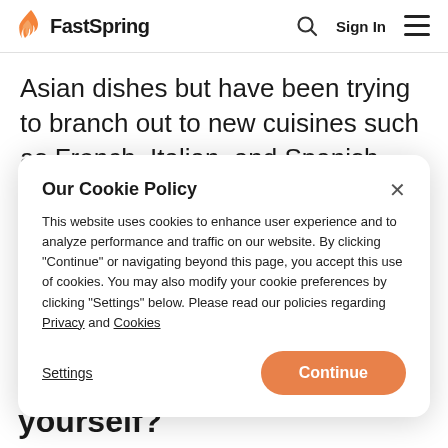FastSpring — Sign In
Asian dishes but have been trying to branch out to new cuisines such as French, Italian, and Spanish. Right now I am learning how to perfect Spanish
Our Cookie Policy
This website uses cookies to enhance user experience and to analyze performance and traffic on our website. By clicking "Continue" or navigating beyond this page, you accept this use of cookies. You may also modify your cookie preferences by clicking "Settings" below. Please read our policies regarding Privacy and Cookies
yourself?